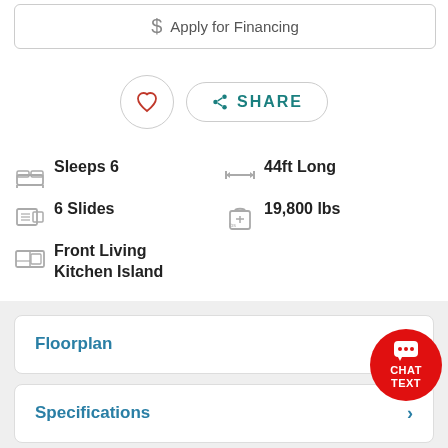[Figure (other): Apply for Financing button with dollar sign icon]
[Figure (other): Heart (favorite) button and Share button row]
Sleeps 6
44ft Long
6 Slides
19,800 lbs
Front Living Kitchen Island
[Figure (other): Red circular chat/text button in top right]
Floorplan
Specifications